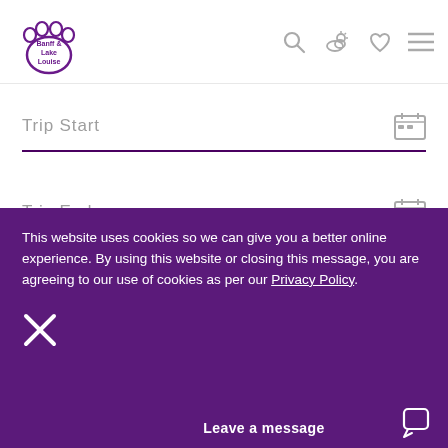[Figure (logo): Banff & Lake Louise bear paw print logo in purple]
Trip Start
Trip End
Accommodation Type
This website uses cookies so we can give you a better online experience. By using this website or closing this message, you are agreeing to our use of cookies as per our Privacy Policy.
Leave a message